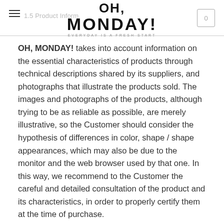OH, MONDAY! — 1.5 Product Information
OH, MONDAY! takes into account information on the essential characteristics of products through technical descriptions shared by its suppliers, and photographs that illustrate the products sold. The images and photographs of the products, although trying to be as reliable as possible, are merely illustrative, so the Customer should consider the hypothesis of differences in color, shape / shape appearances, which may also be due to the monitor and the web browser used by that one. In this way, we recommend to the Customer the careful and detailed consultation of the product and its characteristics, in order to properly certify them at the time of purchase.
1.6 Pricing Information
The retail sales prices indicated in the online store are